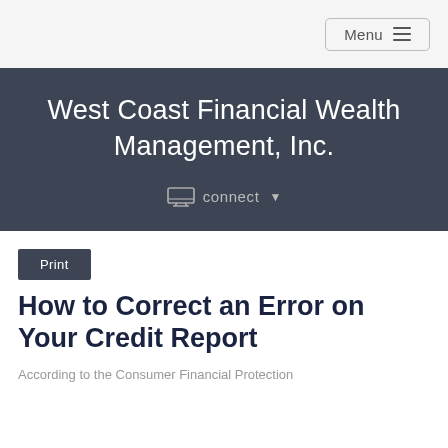Menu
West Coast Financial Wealth Management, Inc.
connect
Print
How to Correct an Error on Your Credit Report
According to the Consumer Financial Protection